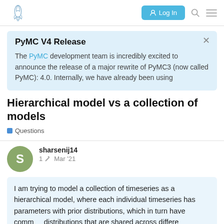PyMC Community Forum — Log In
PyMC V4 Release
The PyMC development team is incredibly excited to announce the release of a major rewrite of PyMC3 (now called PyMC): 4.0. Internally, we have already been using
Hierarchical model vs a collection of models
Questions
sharsenij14   1 ✏   Mar '21
I am trying to model a collection of timeseries as a hierarchical model, where each individual timeseries has parameters with prior distributions, which in turn have common distributions that are shared across differe
1 / 3